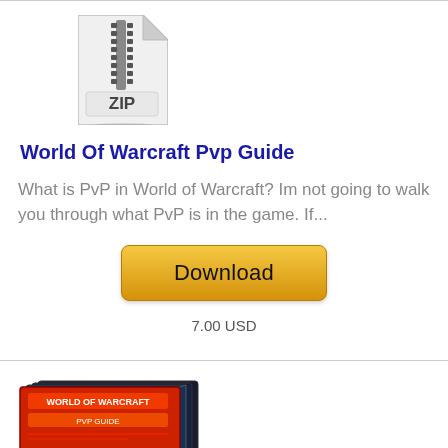[Figure (illustration): ZIP file icon — white folded document with zipper down the center and 'ZIP' label at the bottom]
World Of Warcraft Pvp Guide
What is PvP in World of Warcraft? Im not going to walk you through what PvP is in the game. If...
[Figure (other): Golden Download button]
7.00 USD
[Figure (photo): Stack of red book/DVD covers at the bottom of the page]